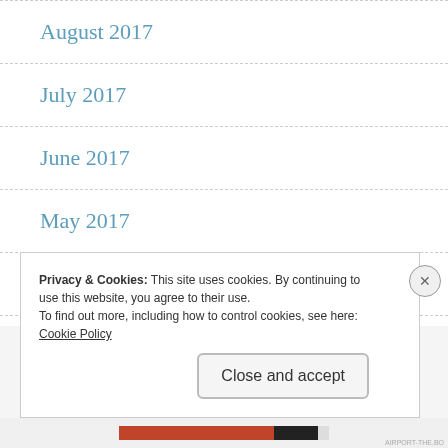August 2017
July 2017
June 2017
May 2017
April 2017
Privacy & Cookies: This site uses cookies. By continuing to use this website, you agree to their use.
To find out more, including how to control cookies, see here: Cookie Policy
AIRPORT-THE.BO